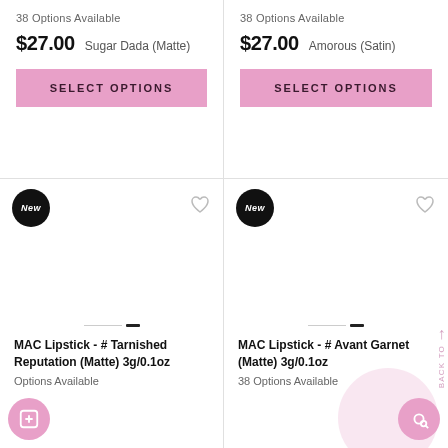38 Options Available
$27.00  Sugar Dada (Matte)
SELECT OPTIONS
38 Options Available
$27.00  Amorous (Satin)
SELECT OPTIONS
New
New
MAC Lipstick - # Tarnished Reputation (Matte) 3g/0.1oz
Options Available
MAC Lipstick - # Avant Garnet (Matte) 3g/0.1oz
38 Options Available